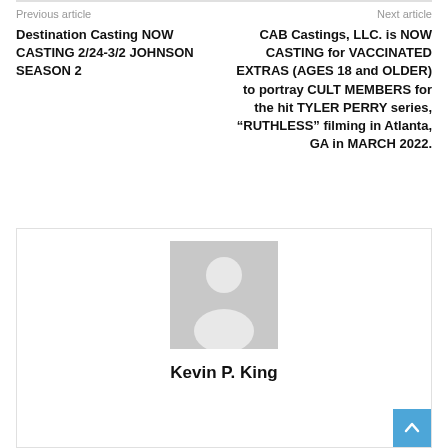Previous article | Next article
Destination Casting NOW CASTING 2/24-3/2 JOHNSON SEASON 2
CAB Castings, LLC. is NOW CASTING for VACCINATED EXTRAS (AGES 18 and OLDER) to portray CULT MEMBERS for the hit TYLER PERRY series, “RUTHLESS” filming in Atlanta, GA in MARCH 2022.
[Figure (illustration): Generic avatar placeholder image showing a silhouette of a person in gray]
Kevin P. King